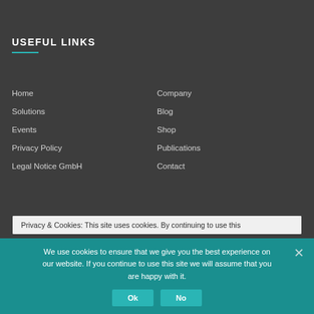USEFUL LINKS
Home
Company
Solutions
Blog
Events
Shop
Privacy Policy
Publications
Legal Notice GmbH
Contact
Privacy & Cookies: This site uses cookies. By continuing to use this
We use cookies to ensure that we give you the best experience on our website. If you continue to use this site we will assume that you are happy with it.